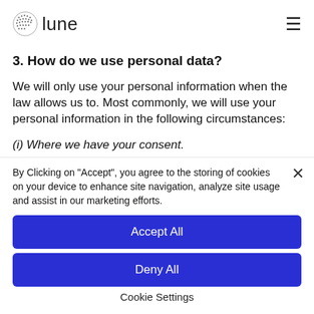lune
3. How do we use personal data?
We will only use your personal information when the law allows us to. Most commonly, we will use your personal information in the following circumstances:
(i) Where we have your consent.
By Clicking on "Accept", you agree to the storing of cookies on your device to enhance site navigation, analyze site usage and assist in our marketing efforts.
Accept All
Deny All
Cookie Settings